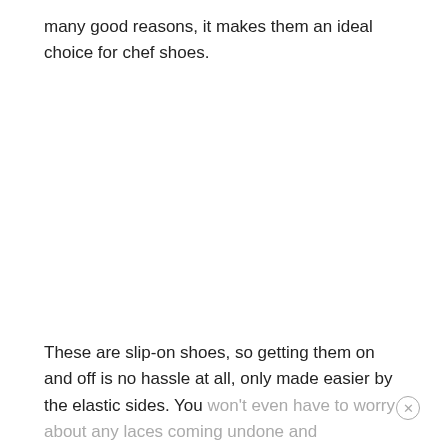many good reasons, it makes them an ideal choice for chef shoes.
These are slip-on shoes, so getting them on and off is no hassle at all, only made easier by the elastic sides. You won't even have to worry about any laces coming undone and accidentally to cause another slip potential slip